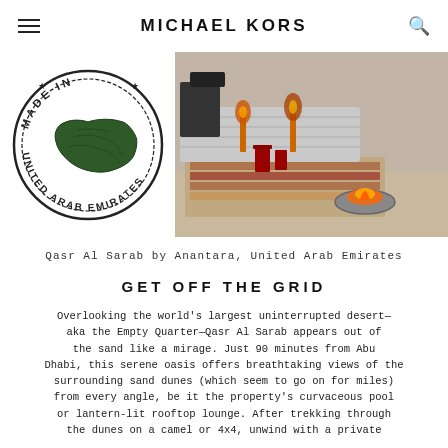MICHAEL KORS
[Figure (illustration): Two-part image: left side shows a circular stamp illustration reading 'UNITED ARAB EMIRATES' with a map outline; right side shows a desert camp scene with lanterns, rugs, cushioned seating, and a fire pit on sand.]
Qasr Al Sarab by Anantara, United Arab Emirates
GET OFF THE GRID
Overlooking the world's largest uninterrupted desert—aka the Empty Quarter—Qasr Al Sarab appears out of the sand like a mirage. Just 90 minutes from Abu Dhabi, this serene oasis offers breathtaking views of the surrounding sand dunes (which seem to go on for miles) from every angle, be it the property's curvaceous pool or lantern-lit rooftop lounge. After trekking through the dunes on a camel or 4x4, unwind with a private